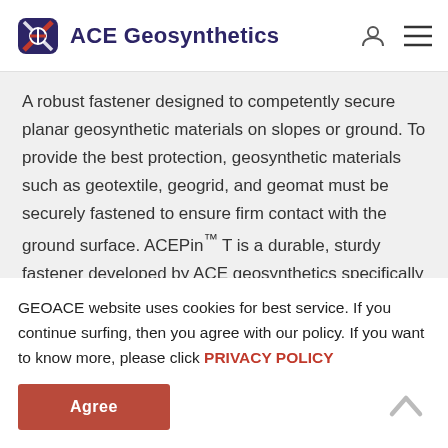ACE Geosynthetics
A robust fastener designed to competently secure planar geosynthetic materials on slopes or ground. To provide the best protection, geosynthetic materials such as geotextile, geogrid, and geomat must be securely fastened to ensure firm contact with the ground surface. ACEPin™ T is a durable, sturdy fastener developed by ACE geosynthetics specifically to safeguard the security of geosynthetic materials on slopes or ground. It is a T shape nailing device with its
GEOACE website uses cookies for best service. If you continue surfing, then you agree with our policy. If you want to know more, please click PRIVACY POLICY